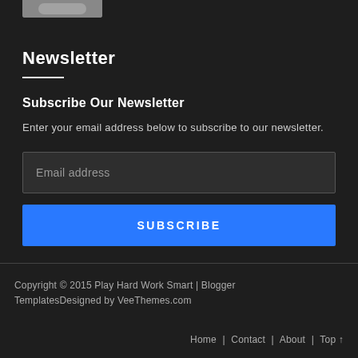[Figure (photo): Partial image visible at top left corner]
Newsletter
Subscribe Our Newsletter
Enter your email address below to subscribe to our newsletter.
Email address
SUBSCRIBE
Copyright © 2015 Play Hard Work Smart | Blogger TemplatesDesigned by VeeThemes.com
Home | Contact | About | Top ↑